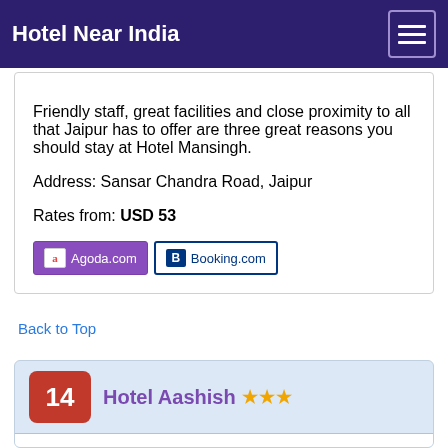Hotel Near India
Friendly staff, great facilities and close proximity to all that Jaipur has to offer are three great reasons you should stay at Hotel Mansingh.
Address: Sansar Chandra Road, Jaipur
Rates from: USD 53
Agoda.com   Booking.com
Back to Top
14  Hotel Aashish ★★★
0.6 km from NMIMS UNIVERSITY